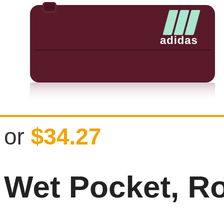[Figure (photo): Adidas dark maroon/burgundy bag with adidas logo and aqua/mint three stripes visible on upper right, photographed on white background with slight reflection below]
or $34.27
Wet Pocket, Roy